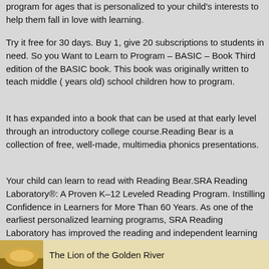program for ages that is personalized to your child's interests to help them fall in love with learning.
Try it free for 30 days. Buy 1, give 20 subscriptions to students in need. So you Want to Learn to Program – BASIC – Book Third edition of the BASIC book. This book was originally written to teach middle ( years old) school children how to program.
It has expanded into a book that can be used at that early level through an introductory college course.Reading Bear is a collection of free, well-made, multimedia phonics presentations.
Your child can learn to read with Reading Bear.SRA Reading Laboratory®: A Proven K–12 Leveled Reading Program. Instilling Confidence in Learners for More Than 60 Years. As one of the earliest personalized learning programs, SRA Reading Laboratory has improved the reading and independent learning skills of more than million students in 63 countries, becoming one of the most trusted names in literacy learning.
The Lion of the Golden River